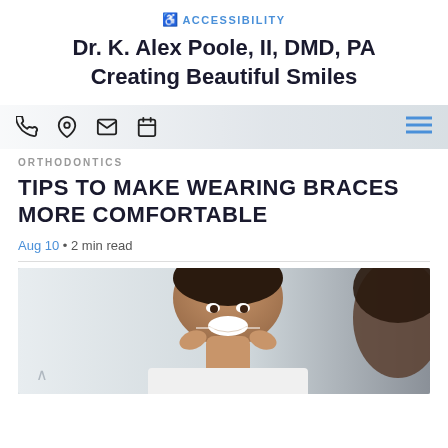♿ ACCESSIBILITY
Dr. K. Alex Poole, II, DMD, PA
Creating Beautiful Smiles
[Figure (screenshot): Navigation bar with phone, location, mail, and calendar icons on left; hamburger menu icon on right, on a light gray background with a faint dental office image behind.]
ORTHODONTICS
TIPS TO MAKE WEARING BRACES MORE COMFORTABLE
Aug 10 • 2 min read
[Figure (photo): A smiling woman flossing her teeth in front of a mirror; another person visible in the background on the right.]